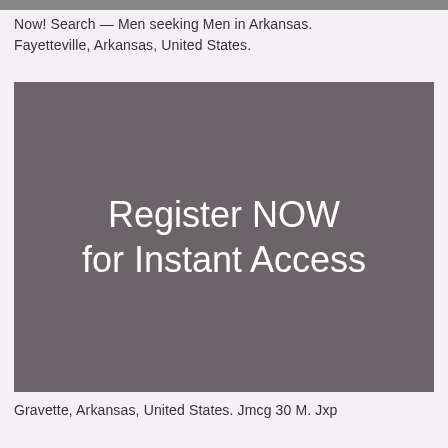Now! Search — Men seeking Men in Arkansas. Fayetteville, Arkansas, United States.
[Figure (other): Gray rectangular banner with white text reading 'Register NOW for Instant Access']
Gravette, Arkansas, United States. Jmcg 30 M. Jxp